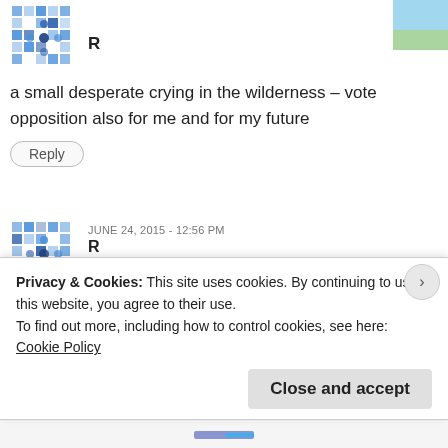a small desperate crying in the wilderness – vote opposition also for me and for my future
Reply
JUNE 24, 2015 - 12:56 PM
R
i speak out for you already many times now your turn VTO
Reply
JUNE 28, 2015 - 11:18 PM
Charles Raj
Privacy & Cookies: This site uses cookies. By continuing to use this website, you agree to their use.
To find out more, including how to control cookies, see here: Cookie Policy
Close and accept